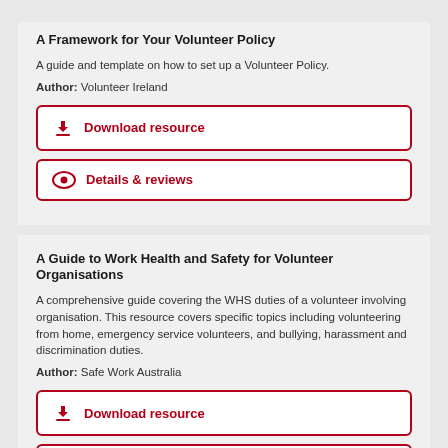A Framework for Your Volunteer Policy
A guide and template on how to set up a Volunteer Policy.
Author: Volunteer Ireland
Download resource
Details & reviews
A Guide to Work Health and Safety for Volunteer Organisations
A comprehensive guide covering the WHS duties of a volunteer involving organisation. This resource covers specific topics including volunteering from home, emergency service volunteers, and bullying, harassment and discrimination duties.
Author: Safe Work Australia
Download resource
Details & reviews